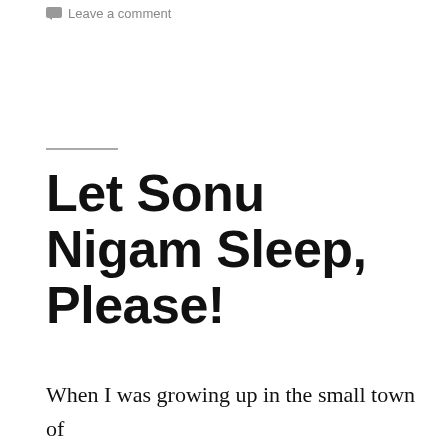Leave a comment
Let Sonu Nigam Sleep, Please!
When I was growing up in the small town of Barabanki in the 1940s, the mosques had no